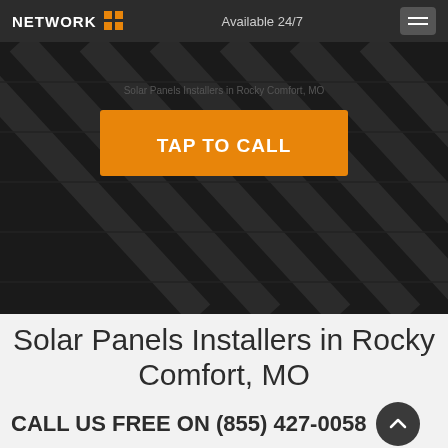NETWORK  Available 24/7
[Figure (screenshot): Hero image of dark solar panels with diagonal lines, overlaid with an orange TAP TO CALL button]
Solar Panels Installers in Rocky Comfort, MO
CALL US FREE ON (855) 427-0058